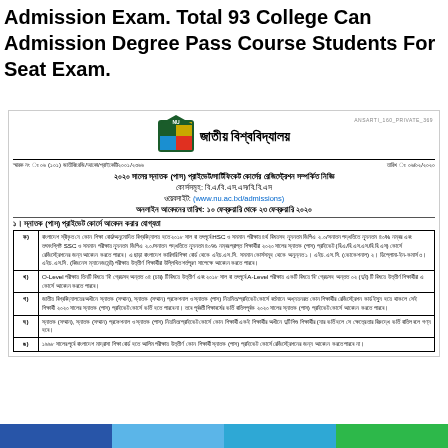Admission Exam. Total 93 College Can Admission Degree Pass Course Students For Seat Exam.
[Figure (logo): National University Bangladesh logo with shield emblem]
জাতীয় বিশ্ববিদ্যালয়
স্মারক নং ঃ ০৬ (১০১) জাতীবি/রেজি/আকো/প্রাইকেটি/২০০১/২৩৬৬    তারিখ ঃ ০৬/০২/২০২০
২০২০ সালের স্নাতক (পাস) প্রাইভেট/সার্টিফিকেট কোর্সের রেজিস্ট্রেশন সম্পর্কিত নিজ্ঞি
কোর্সসমূহ: বি.এ/বি.এস.এস/বি.বি.এস
ওয়েবসাইট: (www.nu.ac.bd/admissions)
অনলাইন আবেদনের তারিখ: ১০ ফেব্রুয়ারি থেকে ২৩ ফেব্রুয়ারি ২০২০
১। স্নাতক (পাস) প্রাইভেট কোর্সে আবেদন করার যোগ্যতা
|  | যোগ্যতার বিবরণ |
| --- | --- |
| ক) | বাংলাদেশ স্বীকৃত যে কোন শিক্ষা বোর্ড/অনুমোদিত বিশ্ববিদ্যালয় হতে ২০১৮ সাল বা তৎপূর্বে HSC ও সমমান পরীক্ষায় ৪র্থ বিষয়সহ ন্যূনতম জিপিএ ২.০/সনাতন পদ্ধতিতে ন্যূনতম ৪০% নম্বর এবং তৎসংশ্লিষ্ট SSC ও সমমান পরীক্ষায় ন্যূনতম জিপিএ ২.০/সনাতন পদ্ধতিতে ন্যূনতম ৪০% নম্বর প্রাপ্ত শিক্ষার্থীরা ২০২০ সালের স্নাতক (পাস) প্রাইভেট (বি.এ/বি.এস.এস/বি.বি.এস) কোর্সে রেজিস্ট্রেশনের জন্য আবেদন করতে পারবে। এ ছাড়া বাংলাদেশ কারিগরি শিক্ষা বোর্ড থেকে এইচ.এস.সি. সমমান কোর্সসমূহ থেকে অনুন্নত ১। এইচ.এস.সি. (ভোকেশনাল) ২। ডিপ্লোমা-ইন-কমার্স ৩। এইচ.এস.সি. (বিজনেস ম্যানেজমেন্ট) পরীক্ষায় উত্তীর্ণ শিক্ষার্থীরা উল্লিখিত শর্তপূরণ সাপেক্ষে আবেদন করতে পারবে। |
| খ) | O-Level পরীক্ষায় তিনটি বিষয়ে 'বি' গ্রেডসহ অন্তত ০৪ (চার) টি বিষয়ে উত্তীর্ণ এবং ২০১৮ সাল বা তৎপূর্বে A-Level পরীক্ষায় একটি বিষয়ে 'বি' গ্রেডসহ অন্তত ০২ (দুই) টি বিষয়ে উত্তীর্ণ শিক্ষার্থীরা এ কোর্সে আবেদন করতে পারবে। |
| গ) | জাতীয় বিশ্ববিদ্যালয়ের অধীনে স্নাতক (সম্মান), স্নাতক (সম্মান) প্রফেশনাল ও স্নাতক (পাস) নিয়মিত/প্রাইভেট কোর্সে বর্তমানে অধ্যয়নরত কোন শিক্ষার্থীর রেজিস্ট্রেশন কার্ড ইস্যু হয়ে থাকলে সেই শিক্ষার্থী ২০২০ সালের স্নাতক (পাস) প্রাইভেট কোর্সে ভর্তি হতে পারবে না। তবে পূর্ববর্তী শিক্ষাবর্ষের ভর্তি বাতিলপূর্বক ২০২০ সালের স্নাতক (পাস) প্রাইভেট কোর্সে আবেদন করতে পারবে। |
| ঘ) | স্নাতক (সম্মান), স্নাতক (সম্মান) প্রফেশনাল ও স্নাতক (পাস) নিয়মিত/প্রাইভেট কোর্সে কোন শিক্ষার্থী একই শিক্ষার্থীর অধীনে দুটি শিশু শিক্ষার্থীর (যার ভর্তি হলে সে ক্ষেত্রে তার বিরুদ্ধে ভর্তি বাতিল বলে গণ্য হবে। |
| ঙ) | ১৯৯৮ সালের পূর্বে বাংলাদেশ মাদ্রাসা শিক্ষা বোর্ড হতে আলিম পরীক্ষায় উত্তীর্ণ কোন শিক্ষার্থী স্নাতক (পাস) প্রাইভেট কোর্সে রেজিস্ট্রেশনের জন্য আবেদন করতে পারবে না। |